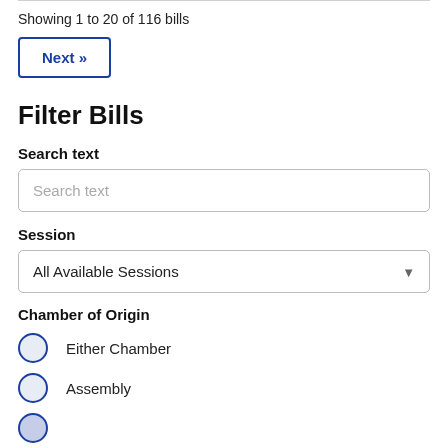Showing 1 to 20 of 116 bills
Next »
Filter Bills
Search text
Search text
Session
All Available Sessions
Chamber of Origin
Either Chamber
Assembly